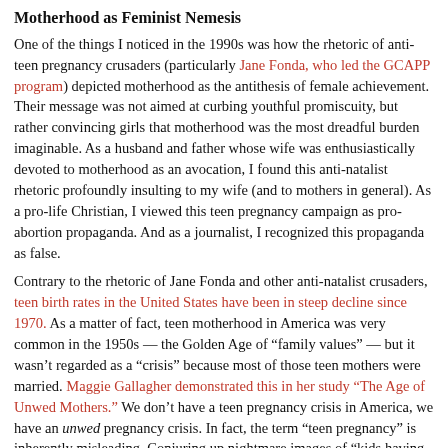Motherhood as Feminist Nemesis
One of the things I noticed in the 1990s was how the rhetoric of anti-teen pregnancy crusaders (particularly Jane Fonda, who led the GCAPP program) depicted motherhood as the antithesis of female achievement. Their message was not aimed at curbing youthful promiscuity, but rather convincing girls that motherhood was the most dreadful burden imaginable. As a husband and father whose wife was enthusiastically devoted to motherhood as an avocation, I found this anti-natalist rhetoric profoundly insulting to my wife (and to mothers in general). As a pro-life Christian, I viewed this teen pregnancy campaign as pro-abortion propaganda. And as a journalist, I recognized this propaganda as false.
Contrary to the rhetoric of Jane Fonda and other anti-natalist crusaders, teen birth rates in the United States have been in steep decline since 1970. As a matter of fact, teen motherhood in America was very common in the 1950s — the Golden Age of "family values" — but it wasn't regarded as a "crisis" because most of those teen mothers were married. Maggie Gallagher demonstrated this in her study "The Age of Unwed Mothers." We don't have a teen pregnancy crisis in America, we have an unwed pregnancy crisis. In fact, the term "teen pregnancy" is inherently misleading. Conjuring up nightmare images of "kids having kids," the crusaders want us to believe there is "crisis" involving immature girls who become mothers before they're old enough to get a driver's license. In fact, as anyone can learn by examining public health statistics, most "teen pregnancy" involves young adult women ages 18-19. High-school graduates, old enough to vote or to serve in the military; these mothers may